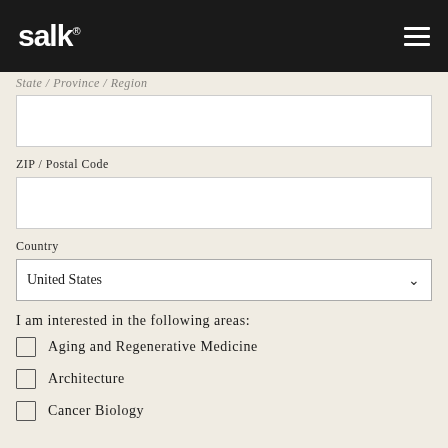[Figure (logo): Salk Institute logo — white bold text 'salk.' on black header bar with hamburger menu icon on right]
State / Province / Region
ZIP / Postal Code
Country
United States
I am interested in the following areas:
Aging and Regenerative Medicine
Architecture
Cancer Biology